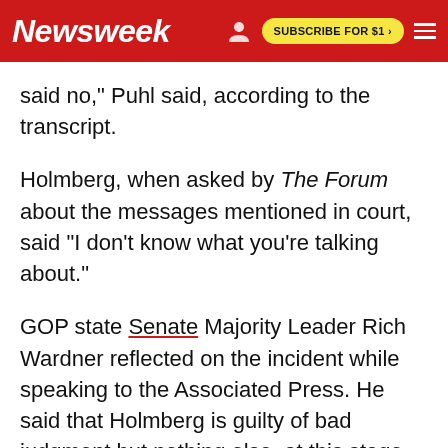Newsweek | SUBSCRIBE FOR $1 >
said no," Puhl said, according to the transcript.
Holmberg, when asked by The Forum about the messages mentioned in court, said "I don't know what you're talking about."
GOP state Senate Majority Leader Rich Wardner reflected on the incident while speaking to the Associated Press. He said that Holmberg is guilty of bad judgment but nothing else, at this stage.